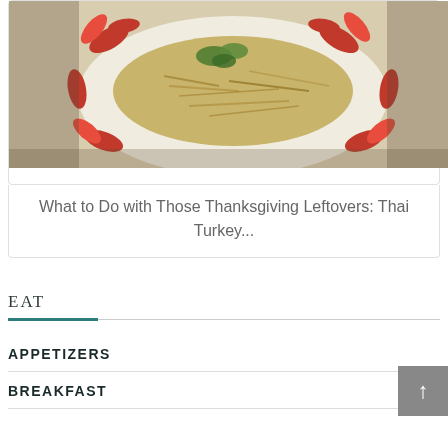[Figure (photo): Photo of a Thai turkey dish on a decorative white plate with red leaf patterns, garnished with herbs.]
What to Do with Those Thanksgiving Leftovers: Thai Turkey...
EAT
APPETIZERS
BREAKFAST